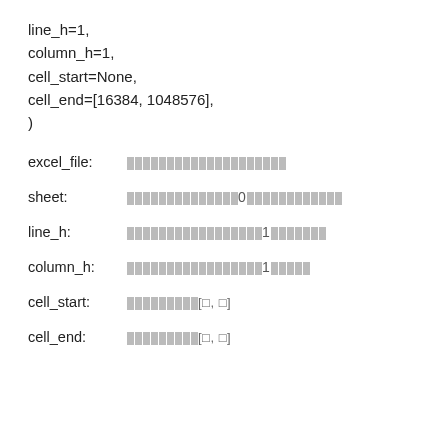line_h=1,
column_h=1,
cell_start=None,
cell_end=[16384, 1048576],
)
excel_file: [redacted]
sheet: [redacted]0[redacted]
line_h: [redacted]1[redacted]
column_h: [redacted]1[redacted]
cell_start: [redacted][□, □]
cell_end: [redacted][□, □]